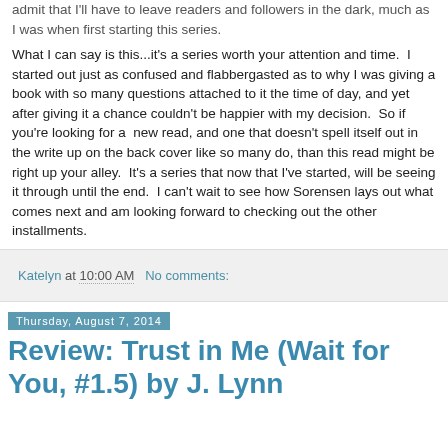admit that I'll have to leave readers and followers in the dark, much as I was when first starting this series.
What I can say is this...it's a series worth your attention and time.  I started out just as confused and flabbergasted as to why I was giving a book with so many questions attached to it the time of day, and yet after giving it a chance couldn't be happier with my decision.  So if you're looking for a  new read, and one that doesn't spell itself out in the write up on the back cover like so many do, than this read might be right up your alley.  It's a series that now that I've started, will be seeing it through until the end.  I can't wait to see how Sorensen lays out what comes next and am looking forward to checking out the other installments.
Katelyn at 10:00 AM   No comments:
Thursday, August 7, 2014
Review: Trust in Me (Wait for You, #1.5) by J. Lynn